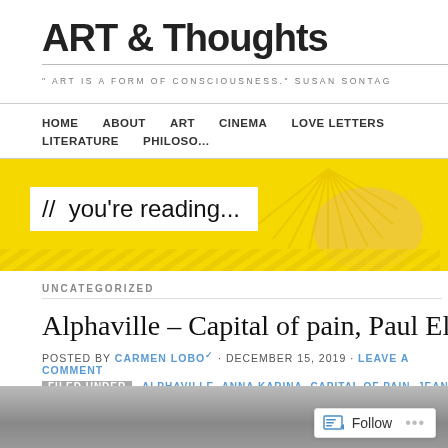ART & Thoughts
" ART IS A FORM OF CONSCIOUSNESS." SUSAN SONTAG
HOME   ABOUT   ART   CINEMA   LOVE LETTERS   LITERATURE   PHILOSO...
[Figure (illustration): Yellow banner with decorative palm leaf illustration and text '// you're reading...' on white background strip]
UNCATEGORIZED
Alphaville – Capital of pain, Paul Eluard poem
POSTED BY CARMEN LOBO · DECEMBER 15, 2019 · LEAVE A COMMENT
FILED UNDER   ALPHAVILLE, ANNA KARINA, CAPITAL OF PAIN, JEAN-LUC GODARD, PAUL EL...
[Figure (photo): Black and white photo strip at bottom of page]